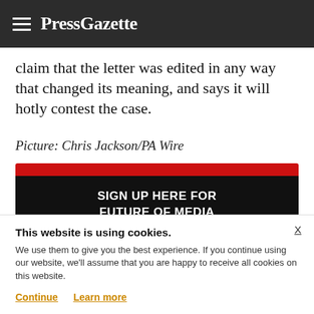PressGazette
claim that the letter was edited in any way that changed its meaning, and says it will hotly contest the case.
Picture: Chris Jackson/PA Wire
[Figure (infographic): PressGazette promotional sign-up box with red top bar and black background. Text reads: SIGN UP HERE FOR FUTURE OF MEDIA. Subtext references Press Gazette's must-read weekly newsletter featuring media industry updates and insights on media organizations.]
This website is using cookies. We use them to give you the best experience. If you continue using our website, we'll assume that you are happy to receive all cookies on this website.
Continue   Learn more